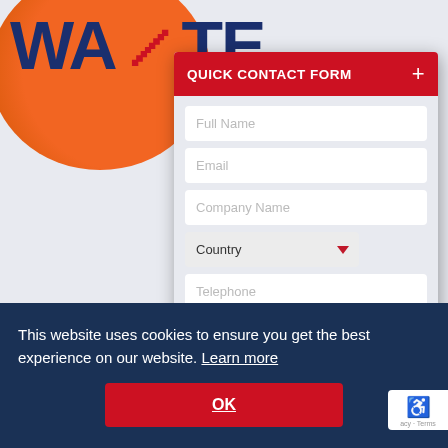[Figure (screenshot): Website background showing orange/blue logo circle and partial text 'WASTE' in navy blue, with partial body text about no-spill retainable hazardous bottles, and 'ciEa' text section below]
QUICK CONTACT FORM
Full Name (input field placeholder)
Email (input field placeholder)
Company Name (input field placeholder)
Country (dropdown)
Telephone (input field placeholder)
Subject (dropdown)
This website uses cookies to ensure you get the best experience on our website. Learn more
OK